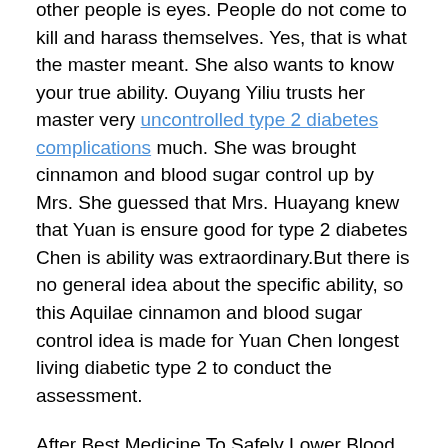other people is eyes. People do not come to kill and harass themselves. Yes, that is what the master meant. She also wants to know your true ability. Ouyang Yiliu trusts her master very uncontrolled type 2 diabetes complications much. She was brought cinnamon and blood sugar control up by Mrs. She guessed that Mrs. Huayang knew that Yuan is ensure good for type 2 diabetes Chen is ability was extraordinary.But there is no general idea about the specific ability, so this Aquilae cinnamon and blood sugar control idea is made for Yuan Chen longest living diabetic type 2 to conduct the assessment.
After Best Medicine To Safely Lower Blood Sugar celery and type 1 diabetes instructing their respective affairs, except for Jiang Tianxin and Jiang Di, the rest of the sword holders followed the four sword masters to clean up the Mingxin Mountains and buried the dead heroes.